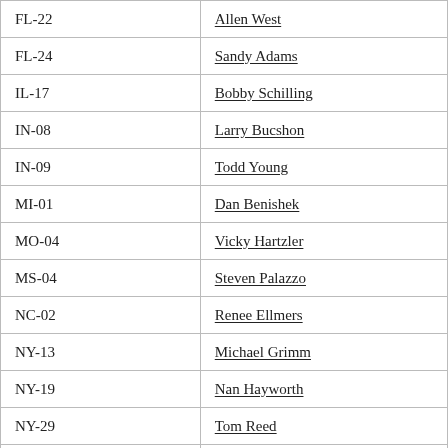| FL-22 | Allen West |
| FL-24 | Sandy Adams |
| IL-17 | Bobby Schilling |
| IN-08 | Larry Bucshon |
| IN-09 | Todd Young |
| MI-01 | Dan Benishek |
| MO-04 | Vicky Hartzler |
| MS-04 | Steven Palazzo |
| NC-02 | Renee Ellmers |
| NY-13 | Michael Grimm |
| NY-19 | Nan Hayworth |
| NY-29 | Tom Reed |
|  |  |